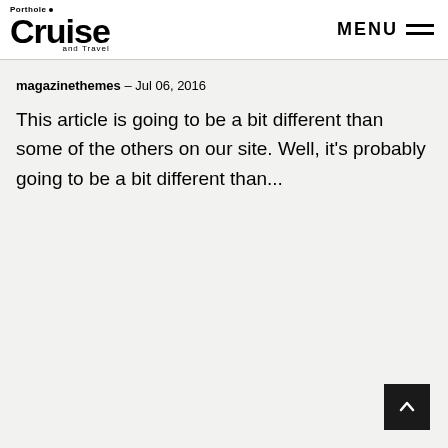Porthole Cruise and Travel — MENU
magazinethemes – Jul 06, 2016
This article is going to be a bit different than some of the others on our site. Well, it's probably going to be a bit different than...